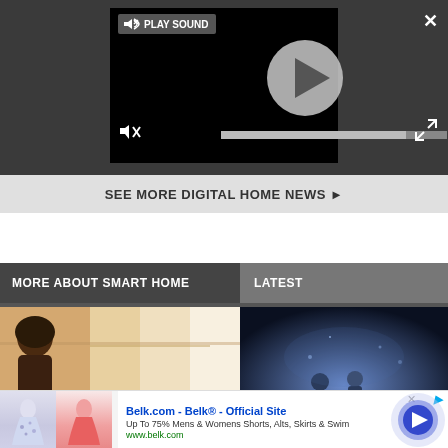[Figure (screenshot): Video player UI embedded in dark gray background with play button, sound control showing PLAY SOUND tooltip, muted speaker icon, progress bar, close (X) button top-right, and expand arrows bottom-right.]
SEE MORE DIGITAL HOME NEWS ▶
MORE ABOUT SMART HOME
LATEST
[Figure (photo): Left thumbnail: person (woman, dark hair) standing in a modern interior room with warm beige/tan tones and white walls.]
[Figure (photo): Right thumbnail: dark blue-toned fantasy/game scene with characters in a dimly lit environment.]
[Figure (infographic): Ad banner for Belk.com showing two skirt images, ad text 'Belk.com - Belk® - Official Site', subtitle 'Up To 75% Mens & Womens Shorts, Alts, Skirts & Swim', URL 'www.belk.com', close button (x), AdChoices icon, and a blue circular arrow button on the right.]